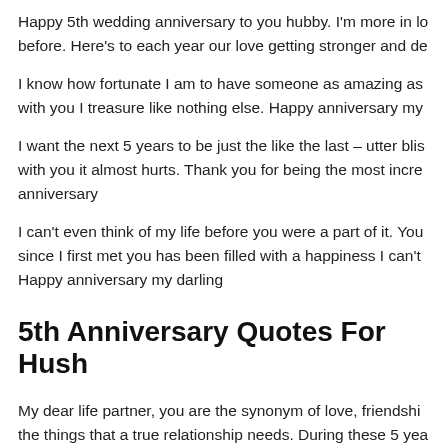Happy 5th wedding anniversary to you hubby. I'm more in lo... before. Here's to each year our love getting stronger and de...
I know how fortunate I am to have someone as amazing as ... with you I treasure like nothing else. Happy anniversary my ...
I want the next 5 years to be just the like the last – utter bliss... with you it almost hurts. Thank you for being the most incred... anniversary
I can't even think of my life before you were a part of it. You ... since I first met you has been filled with a happiness I can't ... Happy anniversary my darling
5th Anniversary Quotes For Husb...
My dear life partner, you are the synonym of love, friendship... the things that a true relationship needs. During these 5 yea...